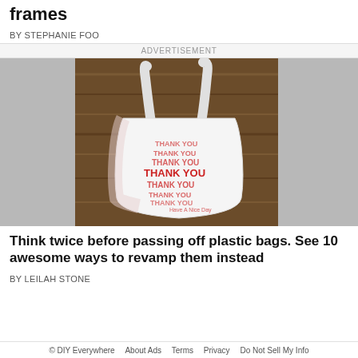frames
BY STEPHANIE FOO
ADVERTISEMENT
[Figure (photo): A white plastic grocery bag with red 'THANK YOU THANK YOU THANK YOU THANK YOU THANK YOU THANK YOU THANK YOU' text repeated multiple times in descending size, and 'Have A Nice Day' text at the bottom, lying on a wooden surface.]
Think twice before passing off plastic bags. See 10 awesome ways to revamp them instead
BY LEILAH STONE
© DIY Everywhere   About Ads   Terms   Privacy   Do Not Sell My Info